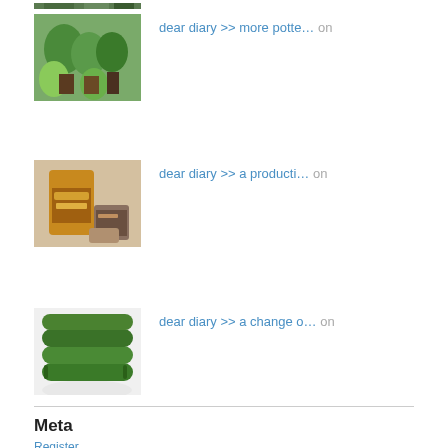[Figure (photo): Partial image at top, cut off - plants/garden scene]
dear diary >> more potte… on
[Figure (photo): Potted plants, green leaves in containers]
dear diary >> a producti… on
[Figure (photo): Food items, brown bag and containers]
dear diary >> a change o… on
[Figure (photo): Green vegetables, cucumbers stacked on white plate]
Meta
Register
Log in